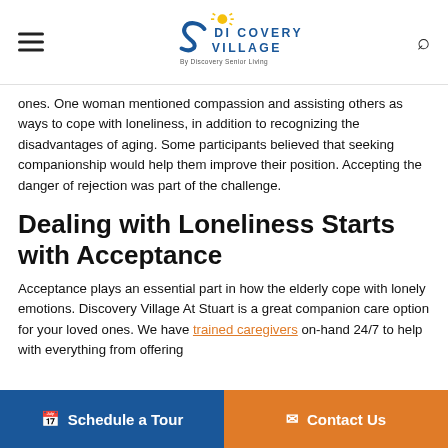Discovery Village By Discovery Senior Living
ones. One woman mentioned compassion and assisting others as ways to cope with loneliness, in addition to recognizing the disadvantages of aging. Some participants believed that seeking companionship would help them improve their position. Accepting the danger of rejection was part of the challenge.
Dealing with Loneliness Starts with Acceptance
Acceptance plays an essential part in how the elderly cope with lonely emotions. Discovery Village At Stuart is a great companion care option for your loved ones. We have trained caregivers on-hand 24/7 to help with everything from offering
Schedule a Tour | Contact Us